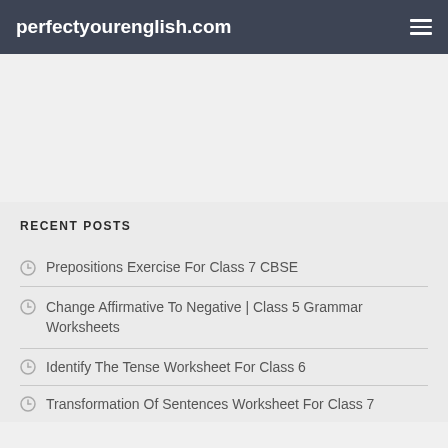perfectyourenglish.com
RECENT POSTS
Prepositions Exercise For Class 7 CBSE
Change Affirmative To Negative | Class 5 Grammar Worksheets
Identify The Tense Worksheet For Class 6
Transformation Of Sentences Worksheet For Class 7